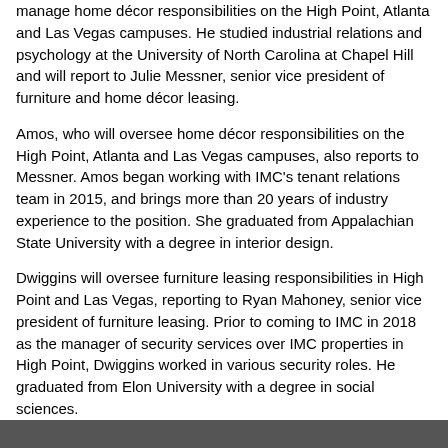manage home décor responsibilities on the High Point, Atlanta and Las Vegas campuses. He studied industrial relations and psychology at the University of North Carolina at Chapel Hill and will report to Julie Messner, senior vice president of furniture and home décor leasing.
Amos, who will oversee home décor responsibilities on the High Point, Atlanta and Las Vegas campuses, also reports to Messner. Amos began working with IMC's tenant relations team in 2015, and brings more than 20 years of industry experience to the position. She graduated from Appalachian State University with a degree in interior design.
Dwiggins will oversee furniture leasing responsibilities in High Point and Las Vegas, reporting to Ryan Mahoney, senior vice president of furniture leasing. Prior to coming to IMC in 2018 as the manager of security services over IMC properties in High Point, Dwiggins worked in various security roles. He graduated from Elon University with a degree in social sciences.